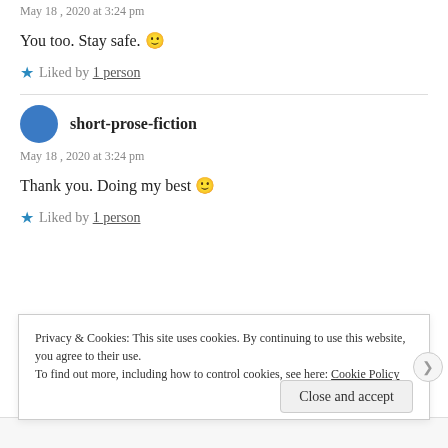May 18, 2020 at 3:24 pm
You too. Stay safe. 🙂
★ Liked by 1 person
short-prose-fiction
May 18, 2020 at 3:24 pm
Thank you. Doing my best 🙂
★ Liked by 1 person
Privacy & Cookies: This site uses cookies. By continuing to use this website, you agree to their use. To find out more, including how to control cookies, see here: Cookie Policy
Close and accept